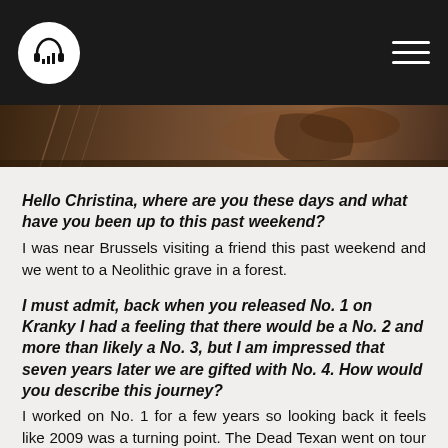[Logo: headphone icon] [Hamburger menu]
[Figure (photo): Partial view of musical instruments, dark warm tones, cropped at top of content area]
Hello Christina, where are you these days and what have you been up to this past weekend?
I was near Brussels visiting a friend this past weekend and we went to a Neolithic grave in a forest.
I must admit, back when you released No. 1 on Kranky I had a feeling that there would be a No. 2 and more than likely a No. 3, but I am impressed that seven years later we are gifted with No. 4. How would you describe this journey?
I worked on No. 1 for a few years so looking back it feels like 2009 was a turning point. The Dead Texan went on tour with Sparklehorse in 2007 and the experience of playing some shows with Mark Linkous had an